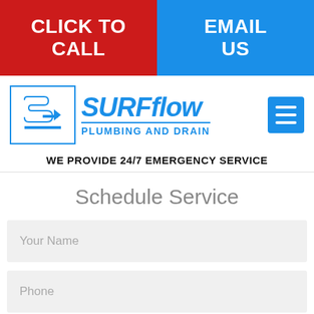CLICK TO CALL | EMAIL US
[Figure (logo): Sureflow Plumbing and Drain logo with SF icon in blue bordered box]
WE PROVIDE 24/7 EMERGENCY SERVICE
Schedule Service
Your Name
Phone